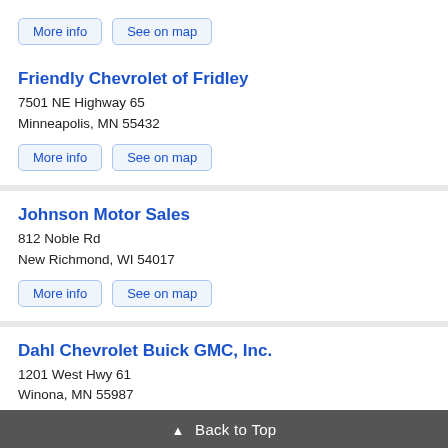More info  See on map
Friendly Chevrolet of Fridley
7501 NE Highway 65
Minneapolis, MN 55432
More info  See on map
Johnson Motor Sales
812 Noble Rd
New Richmond, WI 54017
More info  See on map
Dahl Chevrolet Buick GMC, Inc.
1201 West Hwy 61
Winona, MN 55987
More info  See on map
▲ Back to Top